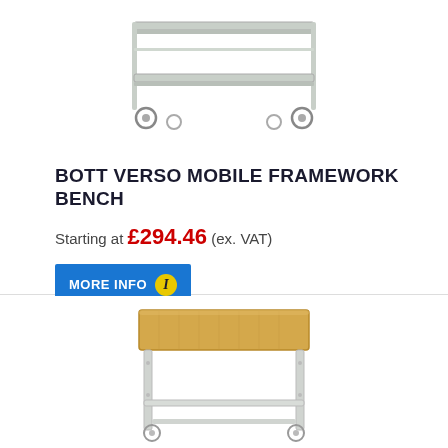[Figure (photo): Bott Verso Mobile Framework Bench product photo showing a light grey/white metal shelving trolley with two shelves and four caster wheels]
BOTT VERSO MOBILE FRAMEWORK BENCH
Starting at £294.46 (ex. VAT)
MORE INFO
[Figure (photo): Second workbench product photo showing a white metal frame bench with a wood/beech colored top surface and caster wheels]